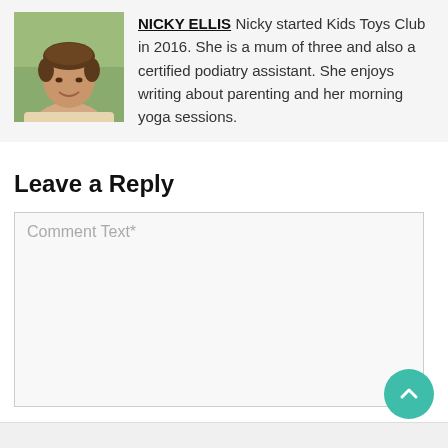[Figure (photo): Headshot photo of Nicky Ellis, a woman with short brown hair, smiling, outdoors with green background]
NICKY ELLIS   Nicky started Kids Toys Club in 2016. She is a mum of three and also a certified podiatry assistant. She enjoys writing about parenting and her morning yoga sessions.
Leave a Reply
Comment Text*